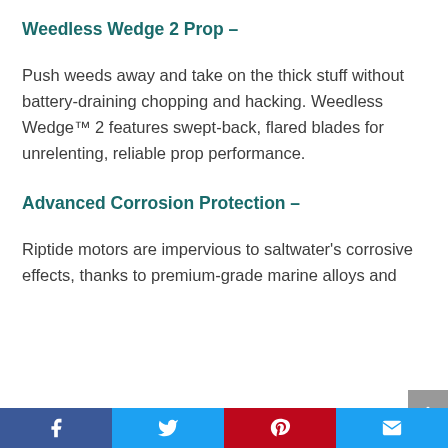Weedless Wedge 2 Prop –
Push weeds away and take on the thick stuff without battery-draining chopping and hacking. Weedless Wedge™ 2 features swept-back, flared blades for unrelenting, reliable prop performance.
Advanced Corrosion Protection –
Riptide motors are impervious to saltwater's corrosive effects, thanks to premium-grade marine alloys and